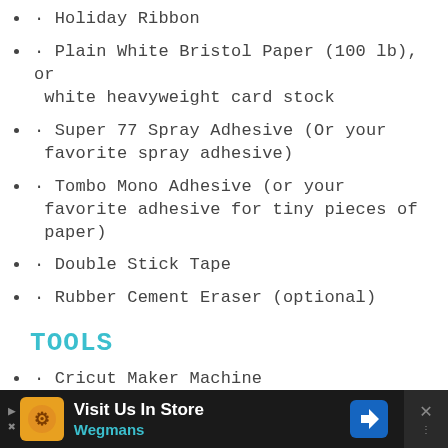· Holiday Ribbon
· Plain White Bristol Paper (100 lb), or white heavyweight card stock
· Super 77 Spray Adhesive (Or your favorite spray adhesive)
· Tombo Mono Adhesive (or your favorite adhesive for tiny pieces of paper)
· Double Stick Tape
· Rubber Cement Eraser (optional)
TOOLS
· Cricut Maker Machine
· Standard Grip Mat for Cricut
· Cricut 02 Double Scoring Wheel
[Figure (infographic): Advertisement banner for Wegmans: Visit Us In Store with Wegmans logo and navigation icon, close button on right]